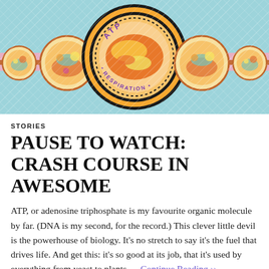[Figure (illustration): Colorful illustrated banner for ATP Respiration. Central large circular badge featuring 'ATP RESPIRATION' text with a decorative illustrated food/molecule design in orange, yellow and teal colors, flanked by smaller circular badges on each side, all on a light teal striped background with a horizontal pink and dark band across the middle.]
STORIES
PAUSE TO WATCH: CRASH COURSE IN AWESOME
ATP, or adenosine triphosphate is my favourite organic molecule by far. (DNA is my second, for the record.) This clever little devil is the powerhouse of biology. It's no stretch to say it's the fuel that drives life. And get this: it's so good at its job, that it's used by everything from yeast to plants … Continue Reading ››